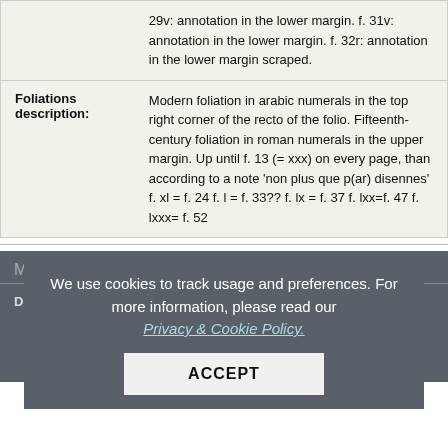| Field | Content |
| --- | --- |
|  | 29v: annotation in the lower margin. f. 31v: annotation in the lower margin. f. 32r: annotation in the lower margin scraped. |
| Foliations description: | Modern foliation in arabic numerals in the top right corner of the recto of the folio. Fifteenth-century foliation in roman numerals in the upper margin. Up until f. 13 (= xxx) on every page, than according to a note 'non plus que p(ar) disennes' f. xl = f. 24 f. l = f. 33?? f. lx = f. 37 f. lxx=f. 47 f. lxxx= f. 52 |
Mise en page
| Field | Content |
| --- | --- |
| Description 1 | ...een ruled for the majuscule letters at the beginning of the ve...eline is concluded with a p...of the column. Apparently written above top line. |
We use cookies to track usage and preferences. For more information, please read our Privacy & Cookie Policy.